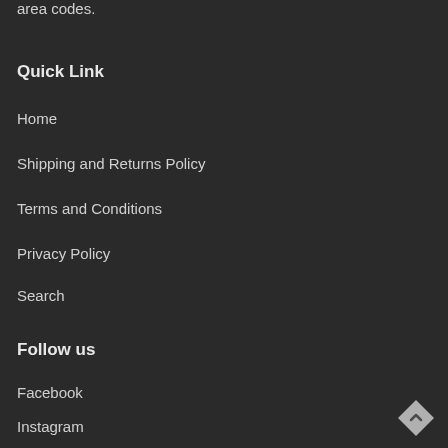area codes.
Quick Link
Home
Shipping and Returns Policy
Terms and Conditions
Privacy Policy
Search
Follow us
Facebook
Instagram